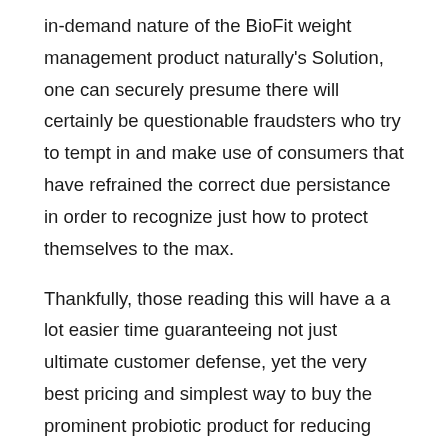in-demand nature of the BioFit weight management product naturally's Solution, one can securely presume there will certainly be questionable fraudsters who try to tempt in and make use of consumers that have refrained the correct due persistance in order to recognize just how to protect themselves to the max.

Thankfully, those reading this will have a a lot easier time guaranteeing not just ultimate customer defense, yet the very best pricing and simplest way to buy the prominent probiotic product for reducing weight normally. As Chrissie Miller mentions during the main GoBioFit discussion for the BioFit probiotic, the only means to get BioFit is at GoBioFit.com where the item has actually been rigorously examined as well as authentically sourced. All of the middlemen are prevented also for less costs, providing clients the largest cost savings with the most affordable price possible. After that to top it off, the VIP-level assistance group is there to answer any type of concerns and all questions before making an order first. In addition to the three complimentary incentives on top of the